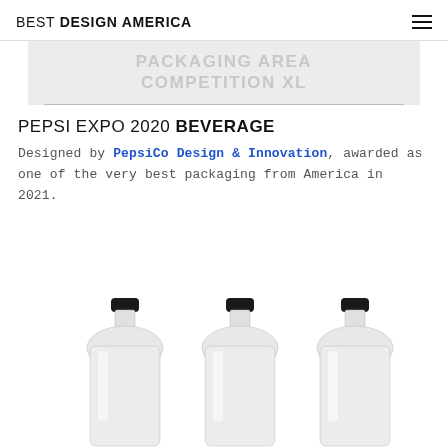BEST DESIGN AMERICA
[Figure (other): Faded banner graphic with text 'PACKAGING COMPETITION' in large bold uppercase letters, light gray on light gray background]
PEPSI EXPO 2020 BEVERAGE
Designed by PepsiCo Design & Innovation, awarded as one of the very best packaging from America in 2021.
[Figure (photo): Three clear glass beverage bottles with black screw caps, arranged side by side, photographed against a white background in black and white style]